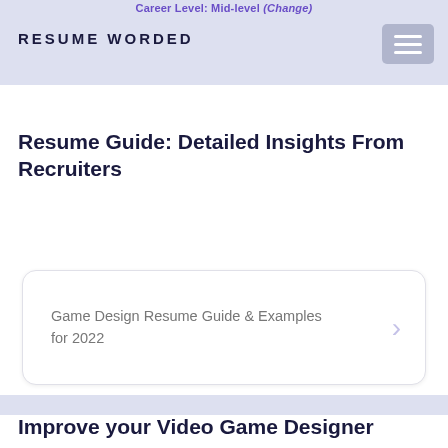Career Level: Mid-level (Change)
RESUME WORDED
Resume Guide: Detailed Insights From Recruiters
Game Design Resume Guide & Examples for 2022
Improve your Video Game Designer